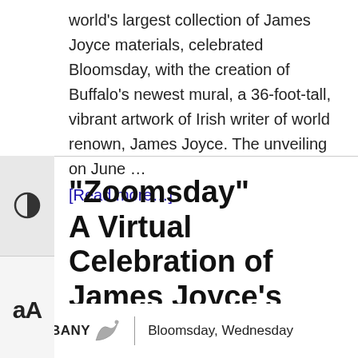world's largest collection of James Joyce materials, celebrated Bloomsday, with the creation of Buffalo's newest mural, a 36-foot-tall, vibrant artwork of Irish writer of world renown, James Joyce. The unveiling on June ...
[Read more…]
"Zoomsday" A Virtual Celebration of James Joyce's Ulysses
[Figure (logo): IABANY logo with stylized bird graphic]
Bloomsday, Wednesday